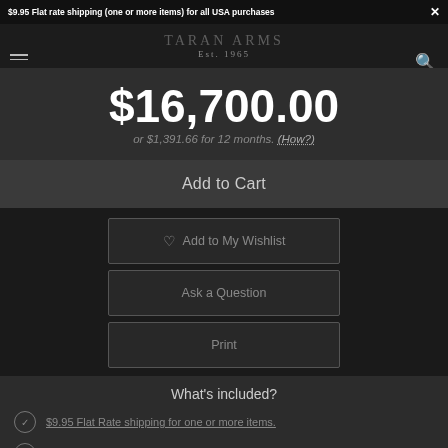$9.95 Flat rate shipping (one or more items) for all USA purchases ×
TARAN ARMS Est. 1965
$16,700.00
or $1,391.66 for 12 months. (How?)
Add to Cart
♡ Add to My Wishlist
Ask a Question
Print
What's included?
$9.95 Flat Rate shipping for one or more items.
Discounted international shipping.
Certificate of Authenticity included.